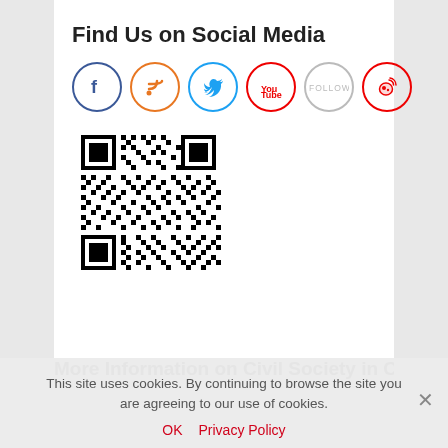Find Us on Social Media
[Figure (illustration): Six social media icon circles in a row: Facebook (blue), RSS (orange), Twitter (light blue), YouTube (red), Follow/Pinterest (grey), Weibo (red)]
[Figure (other): QR code image in black and white]
More Information on Civil Society in China
This site uses cookies. By continuing to browse the site you are agreeing to our use of cookies.
OK   Privacy Policy